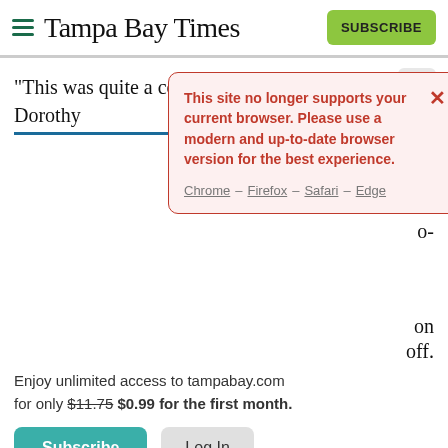Tampa Bay Times
"This was quite a community," said historian and activist Dorothy
[Figure (screenshot): Error notification popup: 'This site no longer supports your current browser. Please use a modern and up-to-date browser version for the best experience. Chrome – Firefox – Safari – Edge']
Enjoy unlimited access to tampabay.com for only $11.75 $0.99 for the first month.
Subscribe   Log In
Interested in print delivery? Subscribe here →
Diggs gave chase, as did many other police officers, and when they stopped McDuffie at North Miami Avenue and Northwest 38th Court,